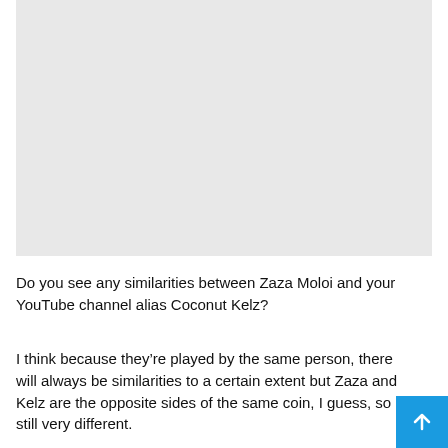[Figure (photo): Large light gray placeholder image block at the top of the page]
Do you see any similarities between Zaza Moloi and your YouTube channel alias Coconut Kelz?
I think because they’re played by the same person, there will always be similarities to a certain extent but Zaza and Kelz are the opposite sides of the same coin, I guess, so still very different.